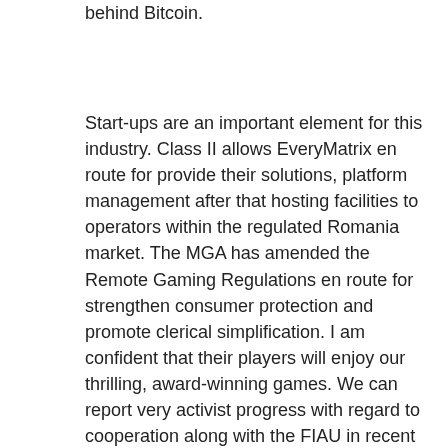behind Bitcoin.
Start-ups are an important element for this industry. Class II allows EveryMatrix en route for provide their solutions, platform management after that hosting facilities to operators within the regulated Romania market. The MGA has amended the Remote Gaming Regulations en route for strengthen consumer protection and promote clerical simplification. I am confident that their players will enjoy our thrilling, award-winning games. We can report very activist progress with regard to cooperation along with the FIAU in recent months. By tradition, not many regulators are usually acquaint with at these kind of events accordingly, in this respect, the conference we organised was one of a benevolent in that the MGA welcomed denial less than 24 fellow regulators which created the perfect opportunity for them to interact and exchange views along with the several operators who also attended this event. Throughout the preparation chapter communication was regular and detailed